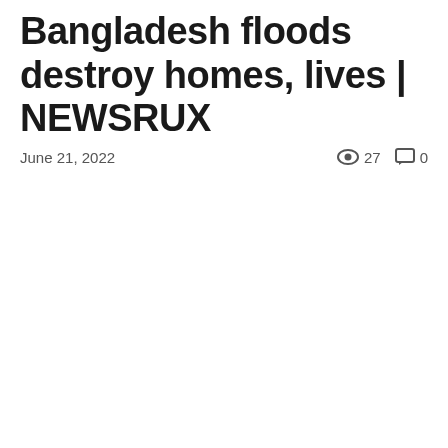Bangladesh floods destroy homes, lives | NEWSRUX
June 21, 2022  👁 27  💬 0